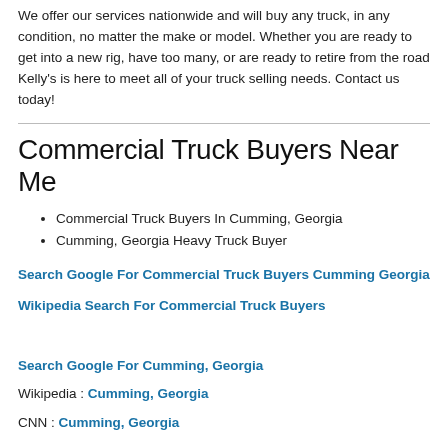We offer our services nationwide and will buy any truck, in any condition, no matter the make or model. Whether you are ready to get into a new rig, have too many, or are ready to retire from the road Kelly's is here to meet all of your truck selling needs. Contact us today!
Commercial Truck Buyers Near Me
Commercial Truck Buyers In Cumming, Georgia
Cumming, Georgia Heavy Truck Buyer
Search Google For Commercial Truck Buyers Cumming Georgia
Wikipedia Search For Commercial Truck Buyers
Search Google For Cumming, Georgia
Wikipedia : Cumming, Georgia
CNN : Cumming, Georgia